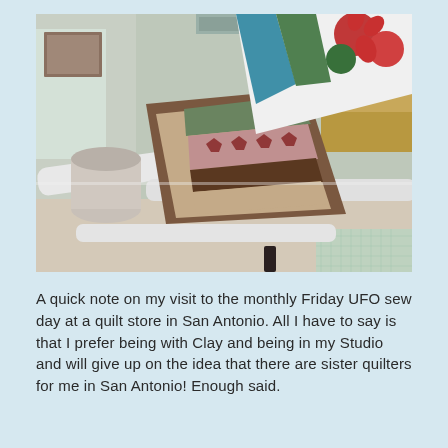[Figure (photo): A quilt on a long arm quilting frame/machine in a home studio. The quilt has star patterns in brown, pink, and green fabrics. Another colorful quilt with floral appliqué in blue, teal, and red hangs in the background. The room has framed artwork on the wall, a TV, and a cutting mat visible.]
A quick note on my visit to the monthly Friday UFO sew day at a quilt store in San Antonio. All I have to say is that I prefer being with Clay and being in my Studio and will give up on the idea that there are sister quilters for me in San Antonio! Enough said.